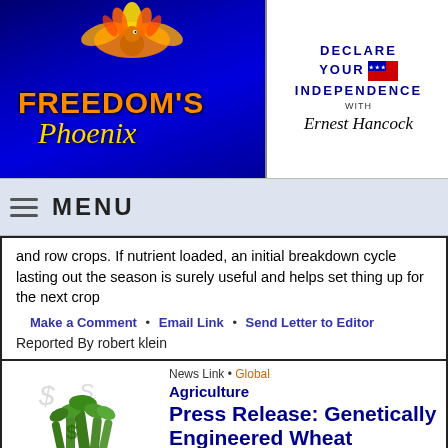[Figure (logo): Freedom's Phoenix logo with golden phoenix bird on blue background]
[Figure (logo): Declare Your Independence with Ernest Hancock logo]
MENU
and row crops. If nutrient loaded, an initial breakdown cycle lasting out the season is surely useful and helps set thing up for the next crop
Make a Comment • Email Link • Send Letter to Editor
Reported By robert klein
News Link • Global
Agriculture
Press Release: Genetically Engineered Wheat Rejected Globally
[Figure (illustration): Illustration of vegetables or plants in a pot with dollar signs]